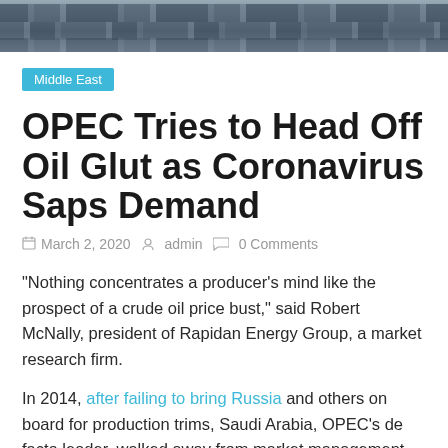[Figure (photo): Aerial or elevated photo of a large parking lot filled with rows of cars]
Middle East
OPEC Tries to Head Off Oil Glut as Coronavirus Saps Demand
March 2, 2020   admin   0 Comments
“Nothing concentrates a producer’s mind like the prospect of a crude oil price bust,” said Robert McNally, president of Rapidan Energy Group, a market research firm.
In 2014, after failing to bring Russia and others on board for production trims, Saudi Arabia, OPEC’s de facto leader, walked away from market management efforts, leading prices to eventually fall below $30 a barrel. That